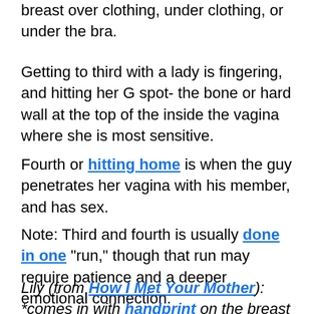breast over clothing, under clothing, or under the bra.
Getting to third with a lady is fingering, and hitting her G spot- the bone or hard wall at the top of the inside the vagina where she is most sensitive.
Fourth or hitting home is when the guy penetrates her vagina with his member, and has sex.
Note: Third and fourth is usually done in one "run," though that run may require patience and a deeper emotional connection.
Lily (from How I Met Your Mother): *comes in with handprint on the breast area of her shirt. "It was